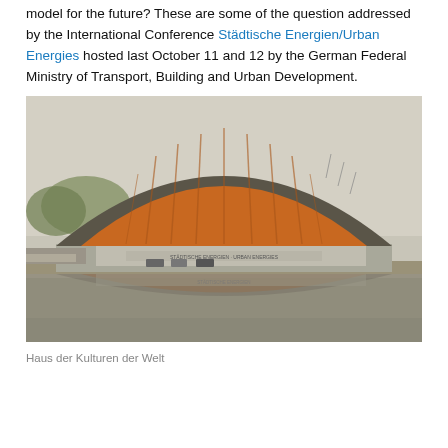model for the future? These are some of the question addressed by the International Conference Städtische Energien/Urban Energies hosted last October 11 and 12 by the German Federal Ministry of Transport, Building and Urban Development.
[Figure (photo): Photo of Haus der Kulturen der Welt — a modernist building with a large curved arch roof with orange/red facade elements, reflected in a rectangular pool of water in front. Overcast sky.]
Haus der Kulturen der Welt